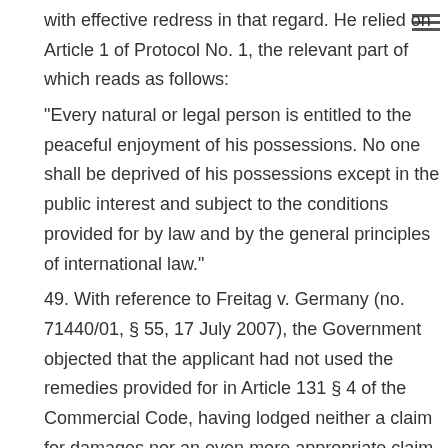with effective redress in that regard. He relied on Article 1 of Protocol No. 1, the relevant part of which reads as follows:
"Every natural or legal person is entitled to the peaceful enjoyment of his possessions. No one shall be deprived of his possessions except in the public interest and subject to the conditions provided for by law and by the general principles of international law."
49. With reference to Freitag v. Germany (no. 71440/01, § 55, 17 July 2007), the Government objected that the applicant had not used the remedies provided for in Article 131 § 4 of the Commercial Code, having lodged neither a claim for damages nor an even more appropriate claim for just satisfaction. It followed from the wording of that provision, as well as from the relevant case-law, that such claims could be granted either when the court decided to set the unlawful resolution aside or when it refused to do so on the grounds provided in Article 131 §